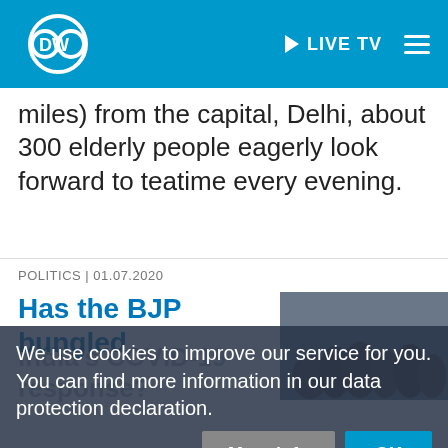DW | LIVE TV
miles) from the capital, Delhi, about 300 elderly people eagerly look forward to teatime every evening.
POLITICS | 01.07.2020
Has the BJP bungled
India's COVID-19 response?
We use cookies to improve our service for you. You can find more information in our data protection declaration.
It breaks the monotony that otherwise consumes their lives.
Many of the residents have been staying he